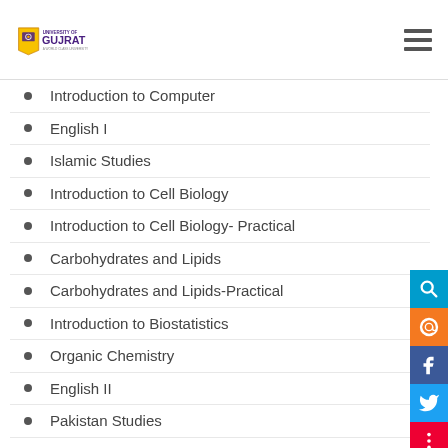University of Gujrat
Introduction to Computer
English I
Islamic Studies
Introduction to Cell Biology
Introduction to Cell Biology- Practical
Carbohydrates and Lipids
Carbohydrates and Lipids-Practical
Introduction to Biostatistics
Organic Chemistry
English II
Pakistan Studies
Molecular Biology